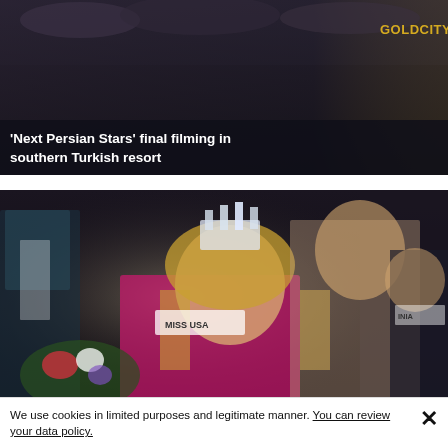[Figure (photo): A dark-themed news article thumbnail showing performers on a stage with decorative feathers and gold 'GOLDCITY' text in the corner]
'Next Persian Stars' final filming in southern Turkish resort
[Figure (photo): A beauty pageant crowning moment showing a smiling blonde woman wearing a Miss USA sash and crystal crown being crowned by another contestant, with other contestants visible in background]
We use cookies in limited purposes and legitimate manner. You can review your data policy.